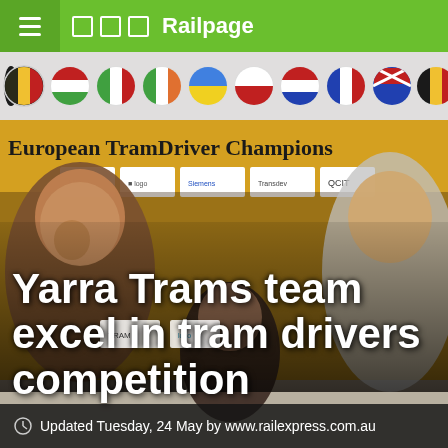≡ □ □ □ Railpage
[Figure (photo): Three people smiling and posing in front of a European TramDriver Championships banner with country flags and sponsor logos. Two men and one woman, in front of a yellow background with sponsor logos.]
Yarra Trams team excel in tram drivers competition
Updated Tuesday, 24 May by www.railexpress.com.au